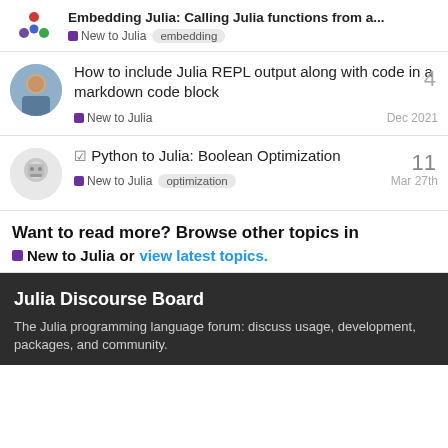Embedding Julia: Calling Julia functions from a...
New to Julia  embedding
How to include Julia REPL output along with code in a markdown code block
New to Julia   Dec 2021   4
Python to Julia: Boolean Optimization
New to Julia   optimization   Mar 27th   11
Want to read more? Browse other topics in
New to Julia or view latest topics.
Julia Discourse Board
The Julia programming language forum: discuss usage, development, packages, and community.